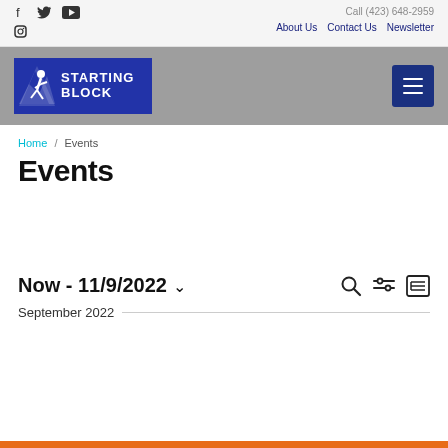Call (423) 648-2959 | About Us  Contact Us  Newsletter
[Figure (logo): Starting Block logo - blue rectangle with runner icon and white text STARTING BLOCK]
Home / Events
Events
Now - 11/9/2022
September 2022